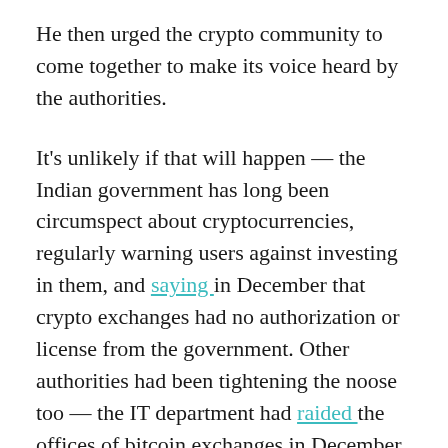He then urged the crypto community to come together to make its voice heard by the authorities.
It's unlikely if that will happen — the Indian government has long been circumspect about cryptocurrencies, regularly warning users against investing in them, and saying in December that crypto exchanges had no authorization or license from the government. Other authorities had been tightening the noose too — the IT department had raided the offices of bitcoin exchanges in December on suspicions of tax evasion.
All this hadn't stopped India's crypto enthusiasts from continuing to invest in virtual currencies, but the latest order can take matters out of their hands. With banks now not allowed to deal with crypto exchanges, their investments have been...